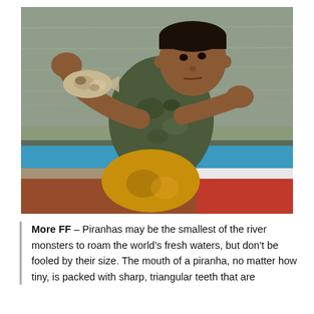[Figure (photo): A young boy sitting on a colorful boat (blue and red stripes) beside a river, holding a small piranha fish up toward the camera with both hands. He wears a camouflage shirt and yellow shorts. The river water with ripples is visible in the background.]
More FF – Piranhas may be the smallest of the river monsters to roam the world's fresh waters, but don't be fooled by their size. The mouth of a piranha, no matter how tiny, is packed with sharp, triangular teeth that are